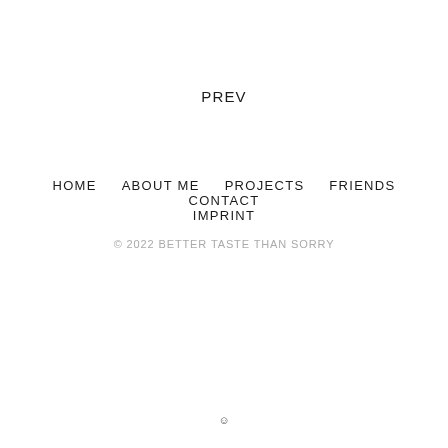PREV
HOME
ABOUT ME
PROJECTS
FRIENDS
CONTACT
IMPRINT
© 2022 BETTER TASTE THAN SORRY
☺